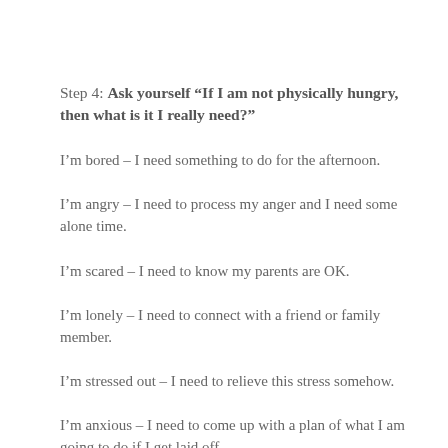Step 4: Ask yourself “If I am not physically hungry, then what is it I really need?”
I’m bored – I need something to do for the afternoon.
I’m angry – I need to process my anger and I need some alone time.
I’m scared – I need to know my parents are OK.
I’m lonely – I need to connect with a friend or family member.
I’m stressed out – I need to relieve this stress somehow.
I’m anxious – I need to come up with a plan of what I am going to do if I get laid off.